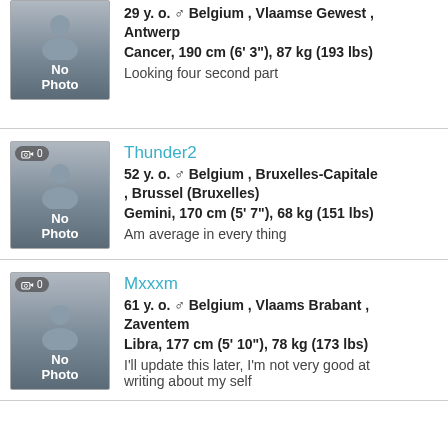29 y. o. ♂ Belgium , Vlaamse Gewest , Antwerp | Cancer, 190 cm (6' 3"), 87 kg (193 lbs) | Looking four second part
Thunder2 | 52 y. o. ♂ Belgium , Bruxelles-Capitale , Brussel (Bruxelles) | Gemini, 170 cm (5' 7"), 68 kg (151 lbs) | Am average in every thing
Mxxxm | 61 y. o. ♂ Belgium , Vlaams Brabant , Zaventem | Libra, 177 cm (5' 10"), 78 kg (173 lbs) | I'll update this later, I'm not very good at writing about my self